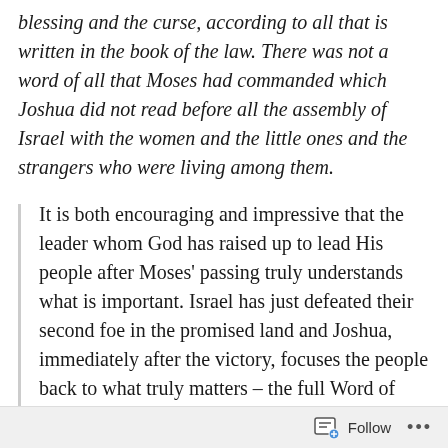blessing and the curse, according to all that is written in the book of the law. There was not a word of all that Moses had commanded which Joshua did not read before all the assembly of Israel with the women and the little ones and the strangers who were living among them.
It is both encouraging and impressive that the leader whom God has raised up to lead His people after Moses' passing truly understands what is important. Israel has just defeated their second foe in the promised land and Joshua, immediately after the victory, focuses the people back to what truly matters – the full Word of God. There is no record of a post-battle party. No streamers. No dance. No parade. He simply offers a sacrifice of thanksgiving to Yahweh who
Follow •••